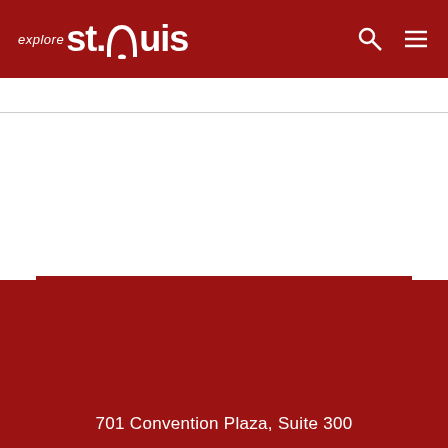explore st.louis
< VIEW ALL PRESS RELEASES
Categories
Archive
701 Convention Plaza, Suite 300